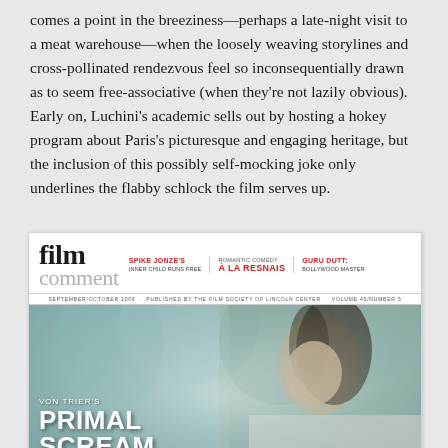comes a point in the breeziness—perhaps a late-night visit to a meat warehouse—when the loosely weaving storylines and cross-pollinated rendezvous feel so inconsequentially drawn as to seem free-associative (when they're not lazily obvious). Early on, Luchini's academic sells out by hosting a hokey program about Paris's picturesque and engaging heritage, but the inclusion of this possibly self-mocking joke only underlines the flabby schlock the film serves up.
[Figure (photo): Cover of Film Comment magazine, September/October 2009, featuring headlines about Spike Jonze, Romantic Comedy à la Resnais, and Guru Dutt: Bollywood Master, with a cover story about Von Trier's Primal Scream featuring Charlotte Gainsbourg. The cover shows a woman with dark hair in a misty forest setting.]